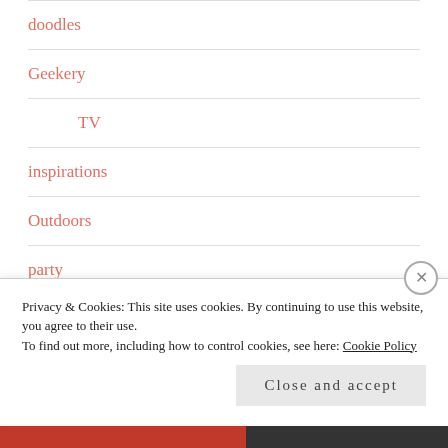doodles
Geekery
TV
inspirations
Outdoors
party
lovecraft party
pure waffle
Privacy & Cookies: This site uses cookies. By continuing to use this website, you agree to their use.
To find out more, including how to control cookies, see here: Cookie Policy
Close and accept